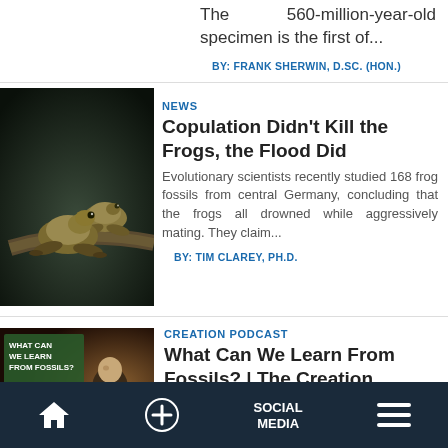The 560-million-year-old specimen is the first of...
BY: FRANK SHERWIN, D.SC. (HON.)
[Figure (photo): Two frogs sitting on a branch in low light, dark background]
NEWS
Copulation Didn't Kill the Frogs, the Flood Did
Evolutionary scientists recently studied 168 frog fossils from central Germany, concluding that the frogs all drowned while aggressively mating. They claim...
BY: TIM CLAREY, PH.D.
[Figure (photo): Podcast thumbnail: 'What Can We Learn From Fossils?' - man in dark jacket gesturing in front of fossil background, with 'The Creation' logo]
CREATION PODCAST
What Can We Learn From Fossils? | The Creation Podcast: Episode
HOME  +  SOCIAL MEDIA  ≡